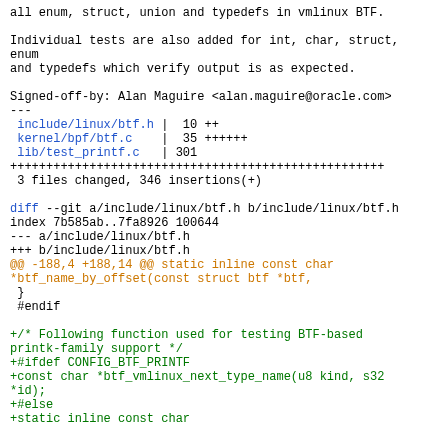all enum, struct, union and typedefs in vmlinux BTF.

Individual tests are also added for int, char, struct, enum
and typedefs which verify output is as expected.

Signed-off-by: Alan Maguire <alan.maguire@oracle.com>
---
 include/linux/btf.h |  10 ++
 kernel/bpf/btf.c    |  35 ++++++
 lib/test_printf.c   | 301
++++++++++++++++++++++++++++++++++++++++++++++++++++
 3 files changed, 346 insertions(+)

diff --git a/include/linux/btf.h b/include/linux/btf.h
index 7b585ab..7fa8926 100644
--- a/include/linux/btf.h
+++ b/include/linux/btf.h
@@ -188,4 +188,14 @@ static inline const char
*btf_name_by_offset(const struct btf *btf,
 }
 #endif

+/* Following function used for testing BTF-based
printk-family support */
+#ifdef CONFIG_BTF_PRINTF
+const char *btf_vmlinux_next_type_name(u8 kind, s32
*id);
+#else
+static inline const char
all enum, struct, union and typedefs in vmlinux BTF.